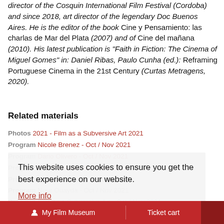director of the Cosquin International Film Festival (Cordoba) and since 2018, art director of the legendary Doc Buenos Aires. He is the editor of the book Cine y Pensamiento: las charlas de Mar del Plata (2007) and of Cine del mañana (2010). His latest publication is "Faith in Fiction: The Cinema of Miguel Gomes" in: Daniel Ribas, Paulo Cunha (ed.): Reframing Portuguese Cinema in the 21st Century (Curtas Metragens, 2020).
Related materials
Photos 2021 - Film as a Subversive Art 2021
Program Nicole Brenez - Oct / Nov 2021
Program Dario Olivero - Oct / Nov 2021
Program Kim Knowles - Oct / Nov 2021
Program Birgit Kohler - Oct / Nov 2021
Program Nour Ouayda - Oct / Nov 2021
Program Film as a Subversive Art - Oct / Nov 2021
This website uses cookies to ensure you get the best experience on our website.
More info
Got it
My Film Museum   Ticket cart